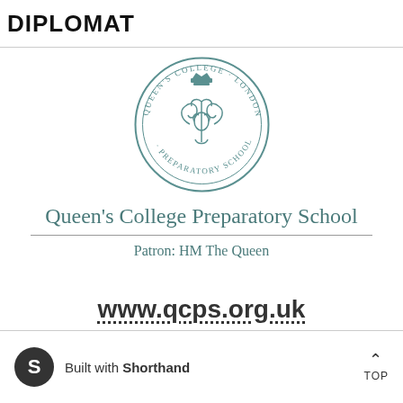DIPLOMAT
[Figure (logo): Queen's College Preparatory School circular seal/crest in teal/green color, featuring ornate monogram with crown, circular text reading QUEEN'S COLLEGE LONDON and PREPARATORY SCHOOL]
Queen's College Preparatory School
Patron: HM The Queen
www.qcps.org.uk
Built with Shorthand  TOP